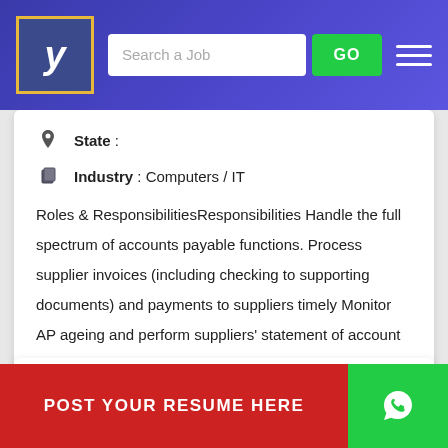[Figure (screenshot): Job board website header with logo, search box, GO button, and hamburger menu on blue/purple gradient background]
State :
Industry : Computers / IT
Roles & ResponsibilitiesResponsibilities Handle the full spectrum of accounts payable functions. Process supplier invoices (including checking to supporting documents) and payments to suppliers timely Monitor AP ageing and perform suppliers' statement of account reconciliation. Assist in the preparation...
Senior Finance Manager, Accounting Controllership Sea (tech Services/ Insurance S...
POST YOUR RESUME HERE
131